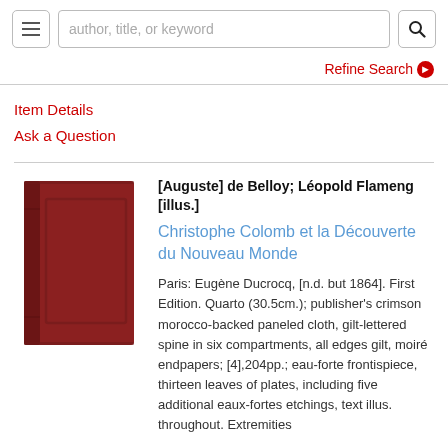[Figure (screenshot): Search bar UI with hamburger menu icon, text field placeholder 'author, title, or keyword', and magnifying glass search icon]
Refine Search ❯
Item Details
Ask a Question
[Figure (photo): Red cloth-bound book, crimson morocco-backed paneled cloth with gilt-lettered spine]
[Auguste] de Belloy; Léopold Flameng [illus.]
Christophe Colomb et la Découverte du Nouveau Monde
Paris: Eugène Ducrocq, [n.d. but 1864]. First Edition. Quarto (30.5cm.); publisher's crimson morocco-backed paneled cloth, gilt-lettered spine in six compartments, all edges gilt, moiré endpapers; [4],204pp.; eau-forte frontispiece, thirteen leaves of plates, including five additional eaux-fortes etchings, text illus. throughout. Extremities